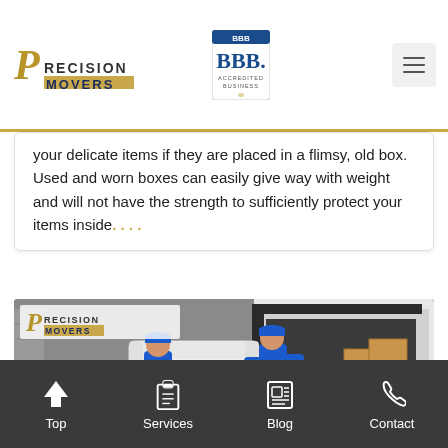Precision Movers — BBB Accredited Business — Navigation header
your delicate items if they are placed in a flimsy, old box. Used and worn boxes can easily give way with weight and will not have the strength to sufficiently protect your items inside. . . .
[Figure (photo): Two movers in blue uniforms carrying a white sofa/couch into a moving van, surrounded by cardboard boxes. Precision Movers logo overlay in top left corner.]
Top | Services | Blog | Contact — bottom navigation bar